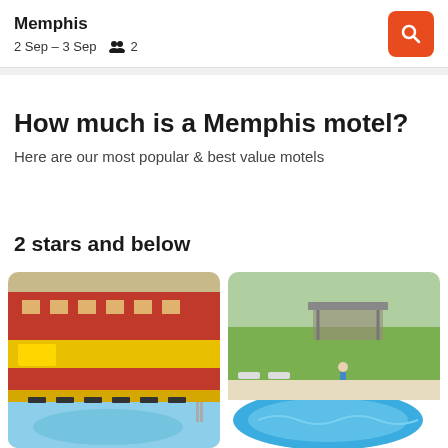Memphis
2 Sep – 3 Sep  👥 2
How much is a Memphis motel?
Here are our most popular & best value motels
2 stars and below
[Figure (photo): Motel with red and yellow painted exterior walls, outdoor pool with lounge chairs]
[Figure (photo): Hotel pool area with lounge chairs, grass and trees in background]